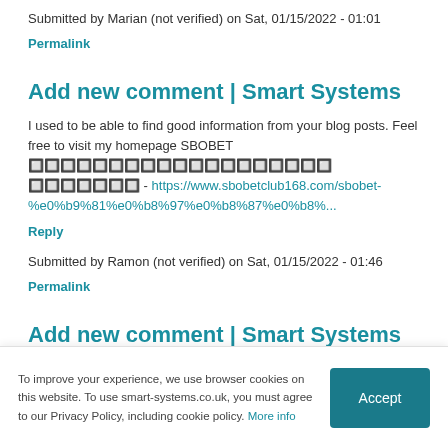Submitted by Marian (not verified) on Sat, 01/15/2022 - 01:01
Permalink
Add new comment | Smart Systems
I used to be able to find good information from your blog posts. Feel free to visit my homepage SBOBET ???????????????????????????? ??????? - https://www.sbobetclub168.com/sbobet-%e0%b9%81%e0%b8%97%e0%b8%87%e0%b8%...
Reply
Submitted by Ramon (not verified) on Sat, 01/15/2022 - 01:46
Permalink
Add new comment | Smart Systems
To improve your experience, we use browser cookies on this website. To use smart-systems.co.uk, you must agree to our Privacy Policy, including cookie policy. More info